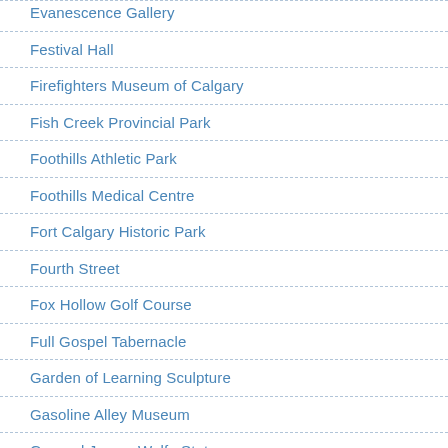Evanescence Gallery
Festival Hall
Firefighters Museum of Calgary
Fish Creek Provincial Park
Foothills Athletic Park
Foothills Medical Centre
Fort Calgary Historic Park
Fourth Street
Fox Hollow Golf Course
Full Gospel Tabernacle
Garden of Learning Sculpture
Gasoline Alley Museum
General James Wolfe Statue